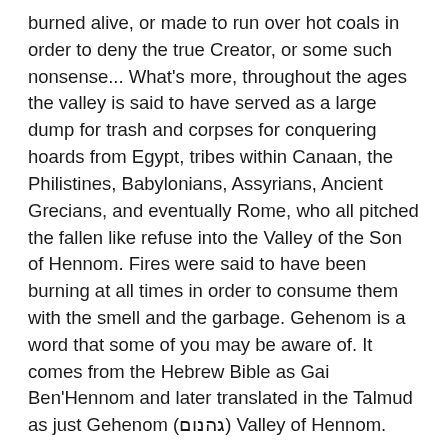burned alive, or made to run over hot coals in order to deny the true Creator, or some such nonsense... What's more, throughout the ages the valley is said to have served as a large dump for trash and corpses for conquering hoards from Egypt, tribes within Canaan, the Philistines, Babylonians, Assyrians, Ancient Grecians, and eventually Rome, who all pitched the fallen like refuse into the Valley of the Son of Hennom. Fires were said to have been burning at all times in order to consume them with the smell and the garbage. Gehenom is a word that some of you may be aware of. It comes from the Hebrew Bible as Gai Ben'Hennom and later translated in the Talmud as just Gehenom (גהנום) Valley of Hennom.
I have no idea who Hennom was (or his son either for that matter), but their little valley sure did work its way deep into the psyche of mankind. You see, in Hebrew, Gehenom is Purgatory, the cosmic washing machine that cleanses a soul of the muck and misdeeds that a person coated it with by following the Yetzer Ha'Ra (intent for evil creation), instead of the Yetzer Ha'Tov (intent for good creation). Before a soul can move into the spiritual realm, becoming that much closer